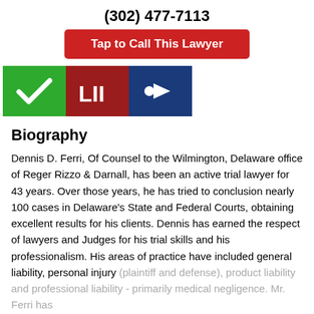(302) 477-7113
Tap to Call This Lawyer
[Figure (infographic): Three icon badges: green checkmark badge, red LII badge, blue forward-arrow badge]
Biography
Dennis D. Ferri, Of Counsel to the Wilmington, Delaware office of Reger Rizzo & Darnall, has been an active trial lawyer for 43 years. Over those years, he has tried to conclusion nearly 100 cases in Delaware's State and Federal Courts, obtaining excellent results for his clients. Dennis has earned the respect of lawyers and Judges for his trial skills and his professionalism. His areas of practice have included general liability, personal injury (plaintiff and defense), product liability and professional liability - primarily medical negligence. Mr. Ferri has